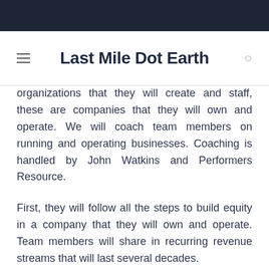Last Mile Dot Earth
organizations that they will create and staff, these are companies that they will own and operate. We will coach team members on running and operating businesses. Coaching is handled by John Watkins and Performers Resource.
First, they will follow all the steps to build equity in a company that they will own and operate. Team members will share in recurring revenue streams that will last several decades.